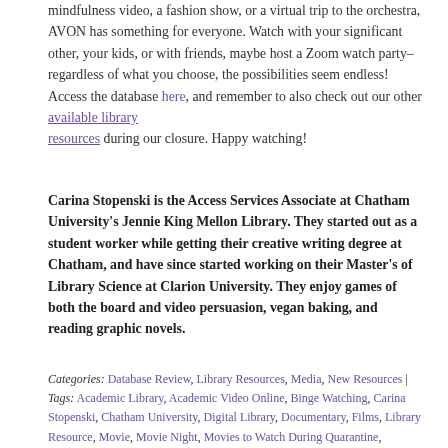mindfulness video, a fashion show, or a virtual trip to the orchestra, AVON has something for everyone. Watch with your significant other, your kids, or with friends, maybe host a Zoom watch party–regardless of what you choose, the possibilities seem endless! Access the database here, and remember to also check out our other available library resources during our closure. Happy watching!
Carina Stopenski is the Access Services Associate at Chatham University's Jennie King Mellon Library. They started out as a student worker while getting their creative writing degree at Chatham, and have since started working on their Master's of Library Science at Clarion University. They enjoy games of both the board and video persuasion, vegan baking, and reading graphic novels.
Categories: Database Review, Library Resources, Media, New Resources | Tags: Academic Library, Academic Video Online, Binge Watching, Carina Stopenski, Chatham University, Digital Library, Documentary, Films, Library Resource, Movie, Movie Night, Movies to Watch During Quarantine,